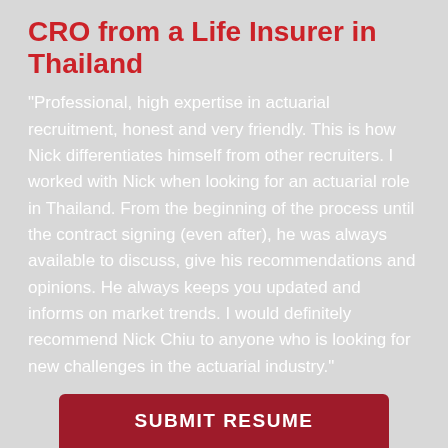CRO from a Life Insurer in Thailand
"Professional, high expertise in actuarial recruitment, honest and very friendly. This is how Nick differentiates himself from other recruiters. I worked with Nick when looking for an actuarial role in Thailand. From the beginning of the process until the contract signing (even after), he was always available to discuss, give his recommendations and opinions. He always keeps you updated and informs on market trends. I would definitely recommend Nick Chiu to anyone who is looking for new challenges in the actuarial industry."
SUBMIT RESUME